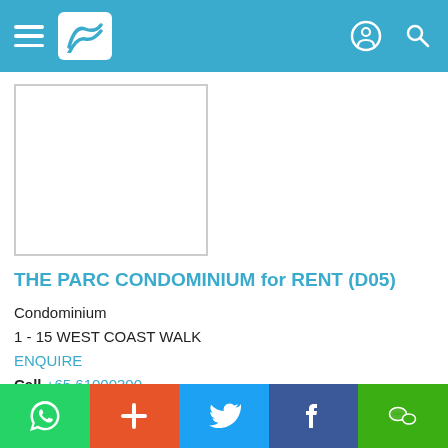THE PARC CONDOMINIUM for RENT (D05)
[Figure (photo): Property listing image placeholder - white rectangle with border]
THE PARC CONDOMINIUM for RENT (D05)
Condominium
1 - 15 WEST COAST WALK
ENQUIRE
Call +65 61000300
Listed on 07 Jul 22
Property Code: 6391935
S$ 7,500 / month
(Negotiable)
S$ 5 psf (built-in)